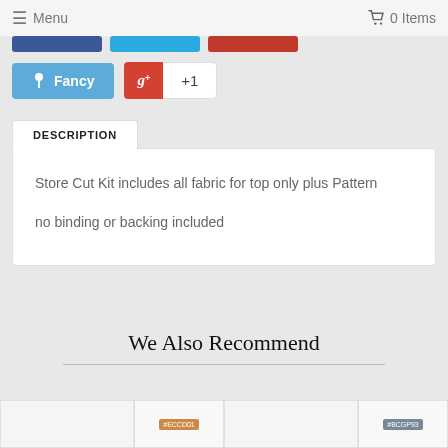Menu  0 Items
[Figure (screenshot): Social share buttons: Facebook, Twitter, Pinterest (top row, partially cut), Fancy button and Google+1 button (second row)]
DESCRIPTION
Store Cut Kit includes all fabric for top only plus Pattern

no binding or backing included
We Also Recommend
[Figure (screenshot): Partially visible product thumbnails with orange and blue-gray tags at bottom of page]